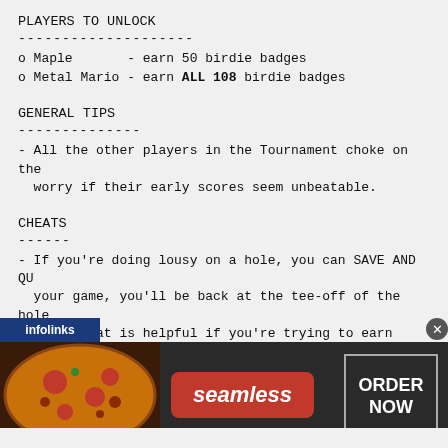PLAYERS TO UNLOCK
--------------------
o Maple      - earn 50 birdie badges
o Metal Mario - earn ALL 108 birdie badges
GENERAL TIPS
--------------
- All the other players in the Tournament choke on the worry if their early scores seem unbeatable.
CHEATS
------
- If you're doing lousy on a hole, you can SAVE AND QU your game, you'll be back at the tee-off of the hole This cheat is helpful if you're trying to earn birdi holes in a course or if you're frustrated trying to real way.
NOTE:  This cheat will not work if your character wa Boy Color version of Mario Golf.
[Figure (screenshot): Seamless food delivery advertisement banner with infolinks label, pizza image on left, seamless red logo in center, and ORDER NOW button on right]